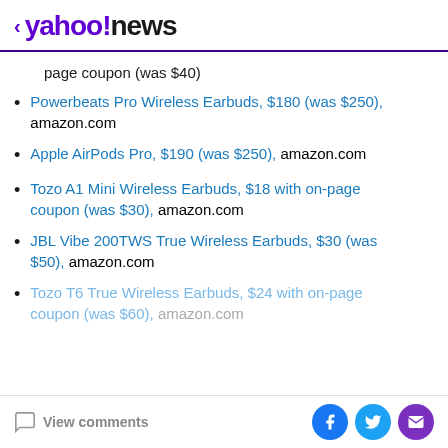< yahoo!news
page coupon (was $40)
Powerbeats Pro Wireless Earbuds, $180 (was $250), amazon.com
Apple AirPods Pro, $190 (was $250), amazon.com
Tozo A1 Mini Wireless Earbuds, $18 with on-page coupon (was $30), amazon.com
JBL Vibe 200TWS True Wireless Earbuds, $30 (was $50), amazon.com
Tozo T6 True Wireless Earbuds, $24 with on-page coupon (was $60), amazon.com
View comments